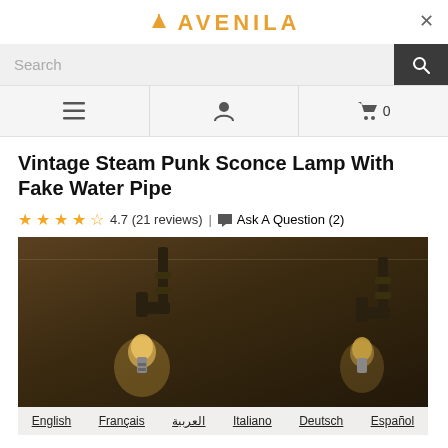AVENILA
Search
Vintage Steam Punk Sconce Lamp With Fake Water Pipe
4.7 (21 reviews) | Ask A Question (2)
[Figure (photo): Product photo of vintage steampunk wall sconce lamps with industrial pipe design and Edison bulbs mounted on a dark textured wall]
English | Français | العربية | Italiano | Deutsch | Español